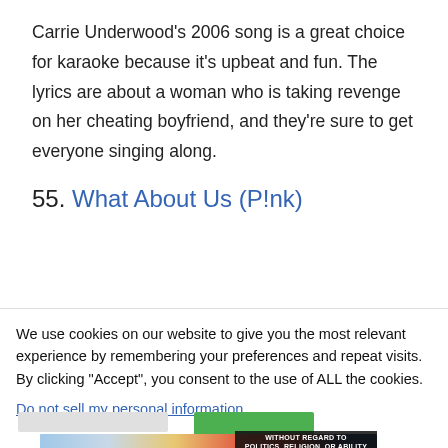Carrie Underwood's 2006 song is a great choice for karaoke because it's upbeat and fun. The lyrics are about a woman who is taking revenge on her cheating boyfriend, and they're sure to get everyone singing along.
55. What About Us (P!nk)
We use cookies on our website to give you the most relevant experience by remembering your preferences and repeat visits. By clicking "Accept", you consent to the use of ALL the cookies.
Do not sell my personal information.
[Figure (photo): Advertisement banner showing cargo aircraft being loaded, with a dark overlay reading 'WITHOUT REGARD TO POLITICS, RELIGION, OR ABILITY TO PAY']